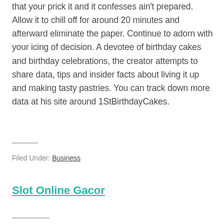that your prick it and it confesses ain't prepared. Allow it to chill off for around 20 minutes and afterward eliminate the paper. Continue to adorn with your icing of decision. A devotee of birthday cakes and birthday celebrations, the creator attempts to share data, tips and insider facts about living it up and making tasty pastries. You can track down more data at his site around 1StBirthdayCakes.
Filed Under: Business
Slot Online Gacor